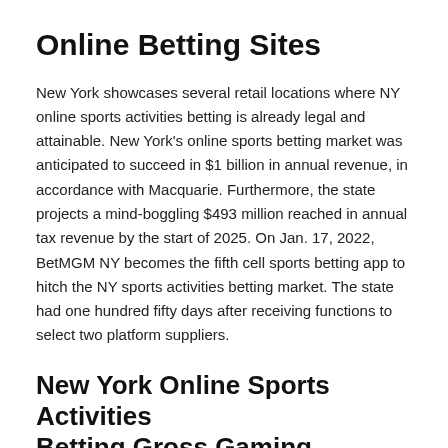Online Betting Sites
New York showcases several retail locations where NY online sports activities betting is already legal and attainable. New York’s online sports betting market was anticipated to succeed in $1 billion in annual revenue, in accordance with Macquarie. Furthermore, the state projects a mind-boggling $493 million reached in annual tax revenue by the start of 2025. On Jan. 17, 2022, BetMGM NY becomes the fifth cell sports betting app to hitch the NY sports activities betting market. The state had one hundred fifty days after receiving functions to select two platform suppliers.
New York Online Sports Activities Betting Gross Gaming Revenues Lowest Since Launch
In this manner, an estimated $1 billion and $293 t...